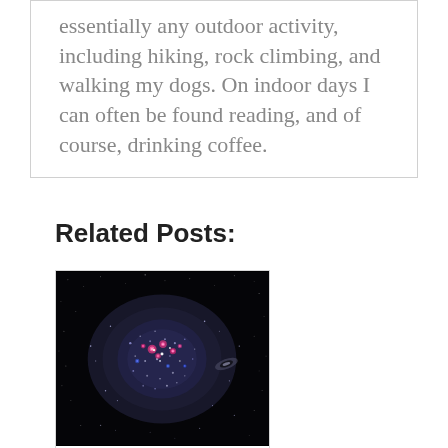essentially any outdoor activity, including hiking, rock climbing, and walking my dogs. On indoor days I can often be found reading, and of course, drinking coffee.
Related Posts:
[Figure (photo): Astronomical photograph of a dwarf galaxy — a faint, irregular cluster of stars with pink and blue star-forming regions against a black background, with a small background galaxy visible to the right.]
Faint Jewels: Discovering The Brilliance of Dwarf Galaxies